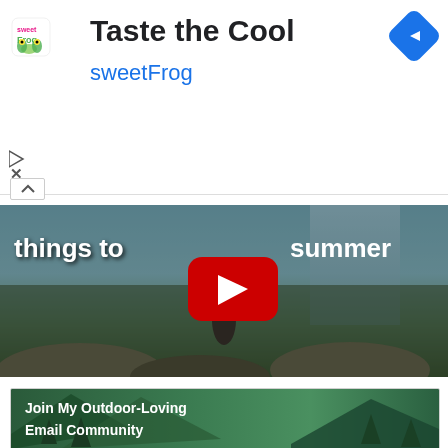[Figure (infographic): sweetFrog advertisement banner with logo, title 'Taste the Cool', subtitle 'sweetFrog', navigation icon, and play/close controls]
[Figure (screenshot): YouTube video thumbnail showing a person standing on rocks by a waterfall with text 'things to [do this] summer' and a YouTube play button overlay]
[Figure (infographic): Email community signup banner with forest/mountains background and bold white text 'Join My Outdoor-Loving Email Community']